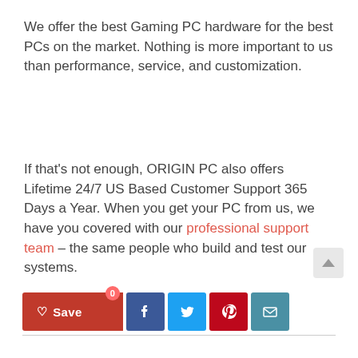We offer the best Gaming PC hardware for the best PCs on the market. Nothing is more important to us than performance, service, and customization.
If that’s not enough, ORIGIN PC also offers Lifetime 24/7 US Based Customer Support 365 Days a Year. When you get your PC from us, we have you covered with our professional support team – the same people who build and test our systems.
[Figure (other): Social sharing buttons row: Save (heart icon, red), Facebook (blue), Twitter (light blue), Pinterest (red), Email (teal). Also a scroll-to-top arrow button (grey) in upper right area.]